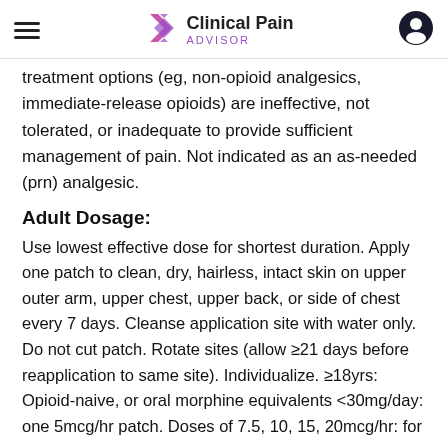Clinical Pain ADVISOR
treatment options (eg, non-opioid analgesics, immediate-release opioids) are ineffective, not tolerated, or inadequate to provide sufficient management of pain. Not indicated as an as-needed (prn) analgesic.
Adult Dosage:
Use lowest effective dose for shortest duration. Apply one patch to clean, dry, hairless, intact skin on upper outer arm, upper chest, upper back, or side of chest every 7 days. Cleanse application site with water only. Do not cut patch. Rotate sites (allow ≥21 days before reapplication to same site). Individualize. ≥18yrs: Opioid-naive, or oral morphine equivalents <30mg/day: one 5mcg/hr patch. Doses of 7.5, 10, 15, 20mcg/hr: for